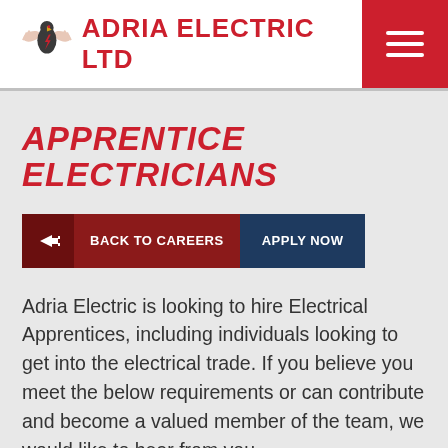ADRIA ELECTRIC LTD
APPRENTICE ELECTRICIANS
BACK TO CAREERS   APPLY NOW
Adria Electric is looking to hire Electrical Apprentices, including individuals looking to get into the electrical trade. If you believe you meet the below requirements or can contribute and become a valued member of the team, we would like to hear from you.